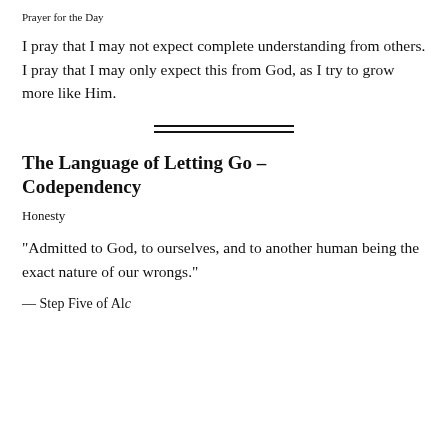Prayer for the Day
I pray that I may not expect complete understanding from others. I pray that I may only expect this from God, as I try to grow more like Him.
The Language of Letting Go – Codependency
Honesty
“Admitted to God, to ourselves, and to another human being the exact nature of our wrongs.”
— Step Five of Alc...